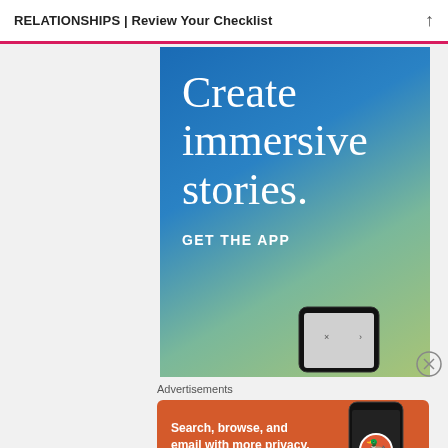RELATIONSHIPS | Review Your Checklist
[Figure (screenshot): Advertisement banner with gradient blue-green background showing text: 'Create immersive stories. GET THE APP' with a phone mockup at the bottom.]
Advertisements
[Figure (screenshot): DuckDuckGo advertisement on orange background: 'Search, browse, and email with more privacy. All in One Free App' with DuckDuckGo logo and phone mockup.]